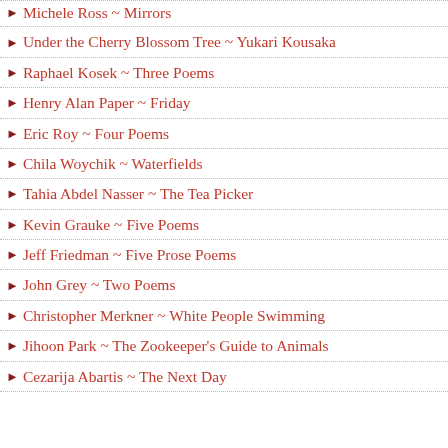Michele Ross ~ Mirrors
Under the Cherry Blossom Tree ~ Yukari Kousaka
Raphael Kosek ~ Three Poems
Henry Alan Paper ~ Friday
Eric Roy ~ Four Poems
Chila Woychik ~ Waterfields
Tahia Abdel Nasser ~ The Tea Picker
Kevin Grauke ~ Five Poems
Jeff Friedman ~ Five Prose Poems
John Grey ~ Two Poems
Christopher Merkner ~ White People Swimming
Jihoon Park ~ The Zookeeper's Guide to Animals
Cezarija Abartis ~ The Next Day